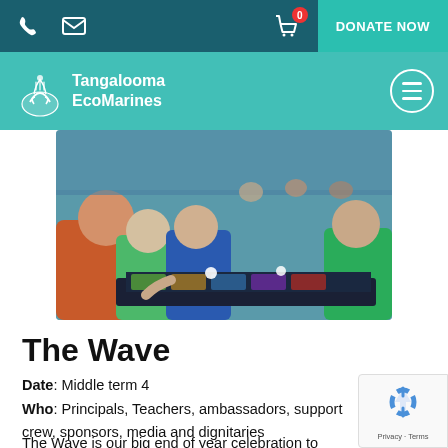Phone, Email icons | Cart (0) | DONATE NOW
Tangalooma EcoMarines
[Figure (photo): People gathered around a long table looking at a large illustrated banner/display showing marine imagery and information, viewed from an angle. Some people are wearing colourful shirts (orange, green, blue).]
The Wave
Date: Middle term 4
Who: Principals, Teachers, ambassadors, support crew, sponsors, media and dignitaries
Where: Brisbane Convention & Exhibition Centre
The Wave is our big end of year celebration to recognize the amazing work our EcoMarine schools do to protects our marine wildlife and